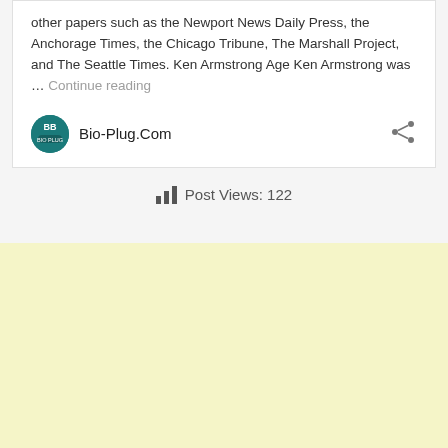other papers such as the Newport News Daily Press, the Anchorage Times, the Chicago Tribune, The Marshall Project, and The Seattle Times. Ken Armstrong Age Ken Armstrong was … Continue reading
Bio-Plug.Com
Post Views: 122
[Figure (other): Light yellow advertisement area background block]